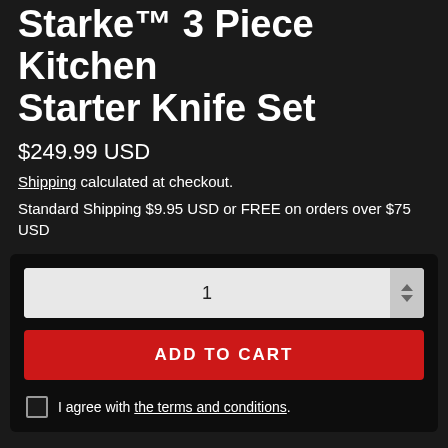Starke™ 3 Piece Kitchen Starter Knife Set
$249.99 USD
Shipping calculated at checkout.
Standard Shipping $9.95 USD or FREE on orders over $75 USD
[Figure (screenshot): E-commerce add to cart section with quantity selector showing '1', a red ADD TO CART button, and a checkbox with text 'I agree with the terms and conditions.']